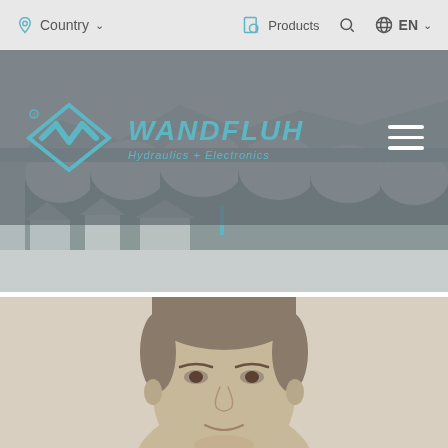Country  Products  EN
[Figure (logo): Wandfluh logo with teal diamond/arrow symbol and italic text 'WANDFLUH Hydraulics + Electronics' on a dark overlay]
[Figure (photo): Sepia-toned historic photograph of a stone viaduct/aqueduct with arches, buildings below, and mountain landscape in the background]
[Figure (photo): Sepia/beige-toned close-up portrait photograph of a young man with neatly combed hair, smiling slightly]